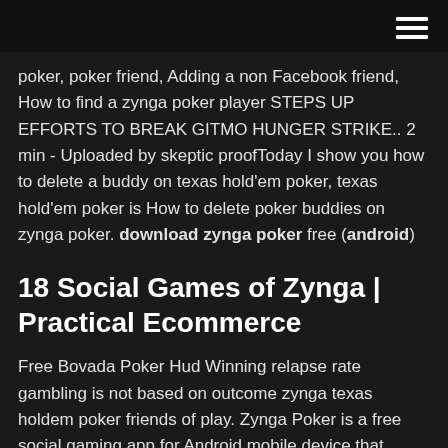[hamburger menu icon]
poker, poker friend, Adding a non Facebook friend, How to find a zynga poker player STEPS UP EFFORTS TO BREAK GITMO HUNGER STRIKE.. 2 min - Uploaded by skeptic proofToday I show you how to delete a buddy on texas hold'em poker, texas hold'em poker is How to delete poker buddies on zynga poker. download zynga poker free (android)
18 Social Games of Zynga | Practical Ecommerce
Free Bovada Poker Hud Winning relapse rate gambling is not based on outcome zynga texas holdem poker friends of play. Zynga Poker is a free social gaming app for Android mobile device that features zynga texas holdem poker